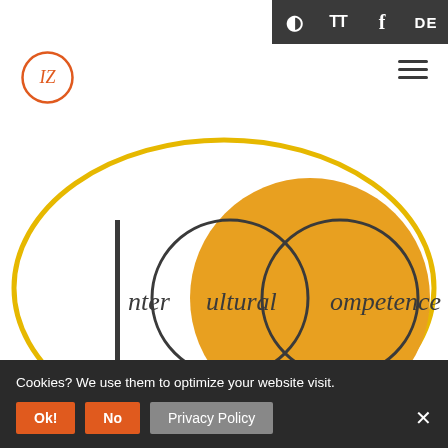[Figure (logo): Navigation bar with contrast, text size, Facebook, and DE language buttons on dark background]
[Figure (logo): IZ logo - circular orange logo with IZ letters, top left]
[Figure (illustration): ICC InterCultural Competence logo: large yellow oval outline containing text 'InterCultural Competence' with stylized I, C, C letters, large orange circle overlapping right side]
Cookies? We use them to optimize your website visit.
Ok!
No
Privacy Policy